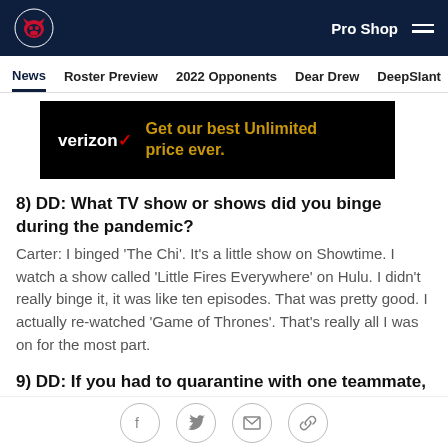Houston Texans — Pro Shop navigation bar
News | Roster Preview | 2022 Opponents | Dear Drew | DeepSlant
[Figure (other): Verizon advertisement banner: verizon checkmark logo, text 'Get our best Unlimited price ever.' in gold on black background]
8) DD: What TV show or shows did you binge during the pandemic?
Carter: I binged 'The Chi'. It's a little show on Showtime. I watch a show called 'Little Fires Everywhere' on Hulu. I didn't really binge it, it was like ten episodes. That was pretty good. I actually re-watched 'Game of Thrones'. That's really all I was on for the most part.
9) DD: If you had to quarantine with one teammate,
Social sharing icons: Facebook, Twitter, Email, Link